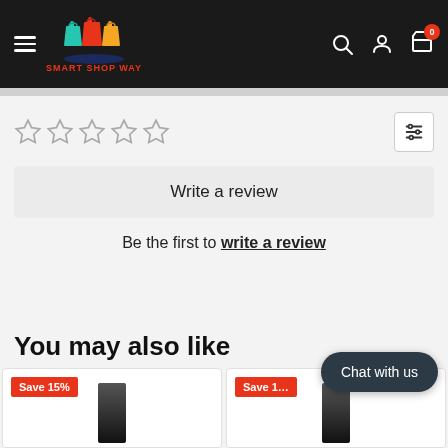Smart Shop Way — navigation header with logo, hamburger menu, search, account, and cart icons
[Figure (illustration): Five empty star rating icons in a row]
[Figure (illustration): Filter/sliders icon button]
Write a review
Be the first to write a review
You may also like
[Figure (photo): Product card with Save 15% badge and dark product image]
[Figure (photo): Product card with partially visible save badge and dark product image]
Chat with us